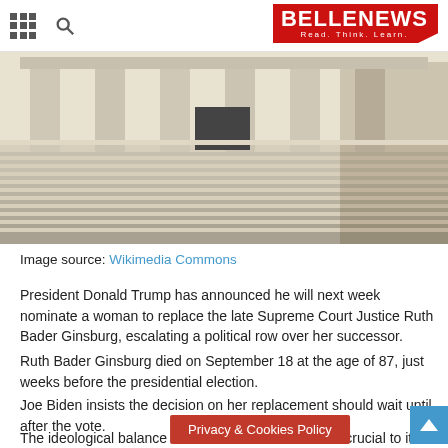BELLENEWS – Read. Think. Learn.
[Figure (photo): Exterior of a classical government building with tall columns and wide stone steps, viewed from ground level.]
Image source: Wikimedia Commons
President Donald Trump has announced he will next week nominate a woman to replace the late Supreme Court Justice Ruth Bader Ginsburg, escalating a political row over her successor.
Ruth Bader Ginsburg died on September 18 at the age of 87, just weeks before the presidential election.
Joe Biden insists the decision on her replacement should wait until after the vote.
The ideological balance of the nine-member court is crucial to its rulings on the most important
Privacy & Cookies Policy